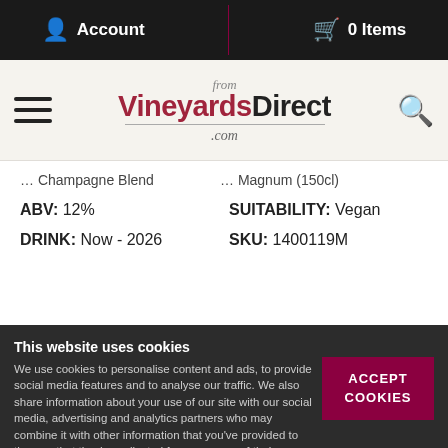Account | 0 Items
[Figure (logo): from VineyardsDirect.com logo with hamburger menu and search icon]
Champagne Blend
ABV: 12%
SUITABILITY: Vegan
DRINK: Now - 2026
SKU: 1400119M
This website uses cookies
We use cookies to personalise content and ads, to provide social media features and to analyse our traffic. We also share information about your use of our site with our social media, advertising and analytics partners who may combine it with other information that you've provided to them or that they've collected from your use of their services.
ACCEPT COOKIES